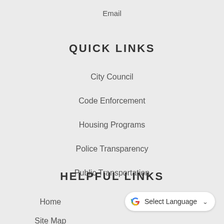Email
QUICK LINKS
City Council
Code Enforcement
Housing Programs
Police Transparency
Public Transportation
HELPFUL LINKS
Home
[Figure (other): Google Translate widget button with 'G' logo and 'Select Language' dropdown arrow]
Site Map